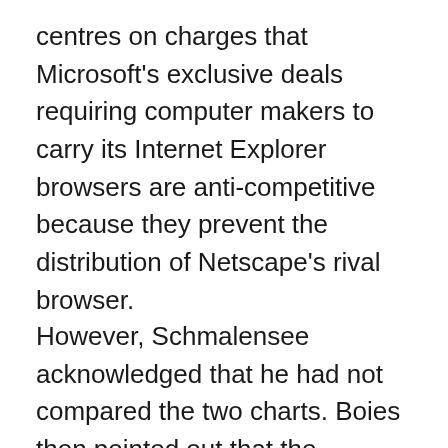centres on charges that Microsoft's exclusive deals requiring computer makers to carry its Internet Explorer browsers are anti-competitive because they prevent the distribution of Netscape's rival browser.
However, Schmalensee acknowledged that he had not compared the two charts. Boies then pointed out that the average number of browsers obtained